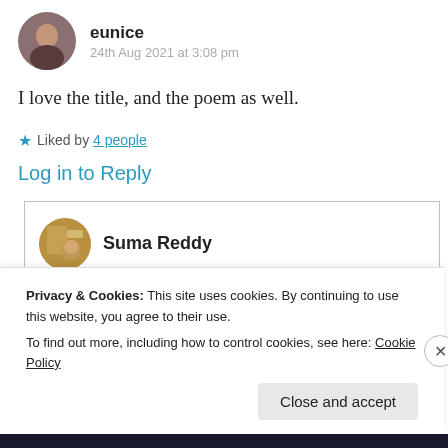eunice
24th Aug 2021 at 3:08 pm
I love the title, and the poem as well.
★ Liked by 4 people
Log in to Reply
Suma Reddy
Privacy & Cookies: This site uses cookies. By continuing to use this website, you agree to their use. To find out more, including how to control cookies, see here: Cookie Policy
Close and accept